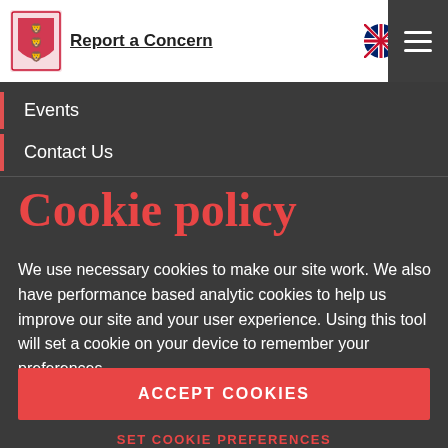Report a Concern
Events
Contact Us
Cookie policy
We use necessary cookies to make our site work. We also have performance based analytic cookies to help us improve our site and your user experience. Using this tool will set a cookie on your device to remember your preferences.
ACCEPT COOKIES
SET COOKIE PREFERENCES